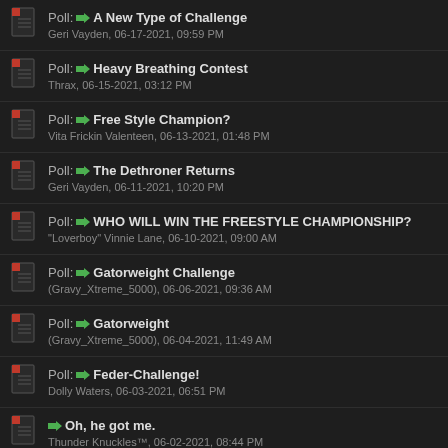Poll: → A New Type of Challenge
Geri Vayden, 06-17-2021, 09:59 PM
Poll: → Heavy Breathing Contest
Thrax, 06-15-2021, 03:12 PM
Poll: → Free Style Champion?
Vita Frickin Valenteen, 06-13-2021, 01:48 PM
Poll: → The Dethroner Returns
Geri Vayden, 06-11-2021, 10:20 PM
Poll: → WHO WILL WIN THE FREESTYLE CHAMPIONSHIP?
"Loverboy" Vinnie Lane, 06-10-2021, 09:00 AM
Poll: → Gatorweight Challenge
(Gravy_Xtreme_5000), 06-06-2021, 09:36 AM
Poll: → Gatorweight
(Gravy_Xtreme_5000), 06-04-2021, 11:49 AM
Poll: → Feder-Challenge!
Dolly Waters, 06-03-2021, 06:51 PM
→ Oh, he got me.
Thunder Knuckles™, 06-02-2021, 08:44 PM
Poll: → Not so fast Marf!
(Gravy_Xtreme_5000), 05-20-2021, 08:04 AM